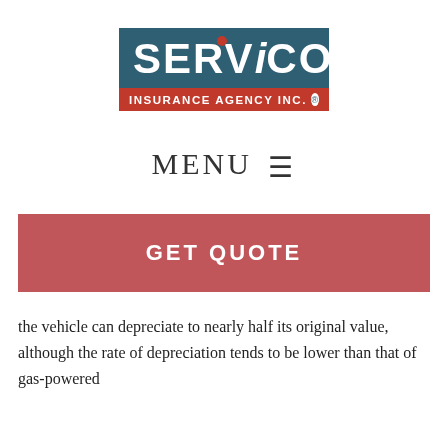[Figure (logo): Servico Insurance Agency Inc. logo — dark teal rectangle with large white SERVICO text and a red dot above the i, red banner below with white INSURANCE AGENCY INC. text and registered trademark symbol]
MENU ≡
GET QUOTE
the vehicle can depreciate to nearly half its original value, although the rate of depreciation tends to be lower than that of gas-powered